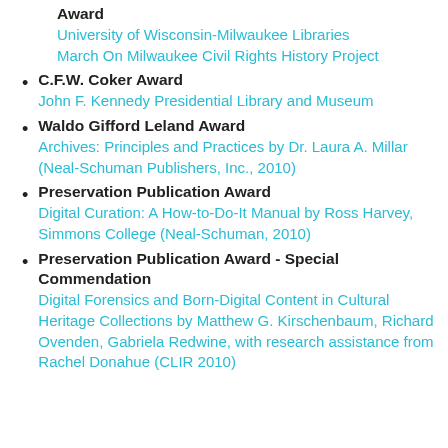Award
University of Wisconsin-Milwaukee Libraries March On Milwaukee Civil Rights History Project
C.F.W. Coker Award
John F. Kennedy Presidential Library and Museum
Waldo Gifford Leland Award
Archives: Principles and Practices by Dr. Laura A. Millar (Neal-Schuman Publishers, Inc., 2010)
Preservation Publication Award
Digital Curation: A How-to-Do-It Manual by Ross Harvey, Simmons College (Neal-Schuman, 2010)
Preservation Publication Award - Special Commendation
Digital Forensics and Born-Digital Content in Cultural Heritage Collections by Matthew G. Kirschenbaum, Richard Ovenden, Gabriela Redwine, with research assistance from Rachel Donahue (CLIR 2010)